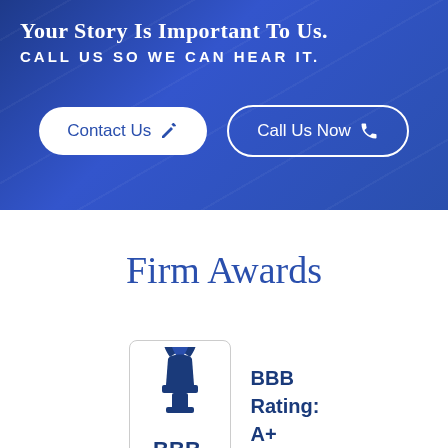Your Story Is Important To Us. CALL US SO WE CAN HEAR IT.
[Figure (other): Two CTA buttons: 'Contact Us' (white filled) and 'Call Us Now' (outline) on blue background]
Firm Awards
[Figure (logo): BBB logo with torch flame icon, 'BBB.' text at bottom, in a rounded rectangle border]
BBB Rating: A+